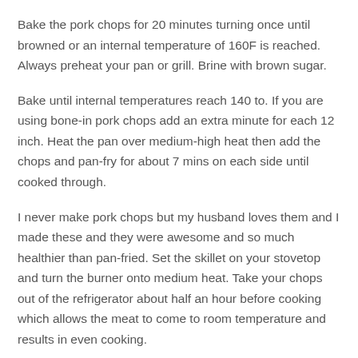Bake the pork chops for 20 minutes turning once until browned or an internal temperature of 160F is reached. Always preheat your pan or grill. Brine with brown sugar.
Bake until internal temperatures reach 140 to. If you are using bone-in pork chops add an extra minute for each 12 inch. Heat the pan over medium-high heat then add the chops and pan-fry for about 7 mins on each side until cooked through.
I never make pork chops but my husband loves them and I made these and they were awesome and so much healthier than pan-fried. Set the skillet on your stovetop and turn the burner onto medium heat. Take your chops out of the refrigerator about half an hour before cooking which allows the meat to come to room temperature and results in even cooking.
Sear the pork chops. Heat an ovenproof skillet cast iron is ideal on